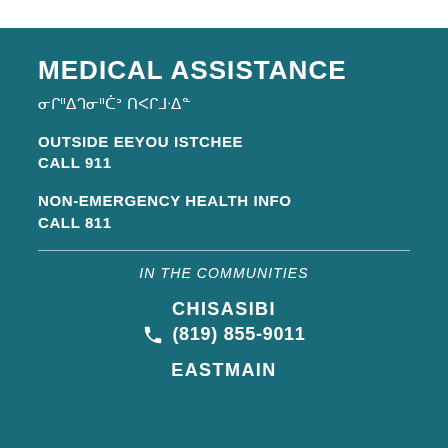MEDICAL ASSISTANCE
ᓂᒋᐦᐃᒉᓂᐦᑖᐣ ᑎᐸᒋᒧᐧᐃᓐ
OUTSIDE EEYOU ISTCHEE
CALL 911
NON-EMERGENCY HEALTH INFO
CALL 811
IN THE COMMUNITIES
CHISASIBI
(819) 855-9011
EASTMAIN